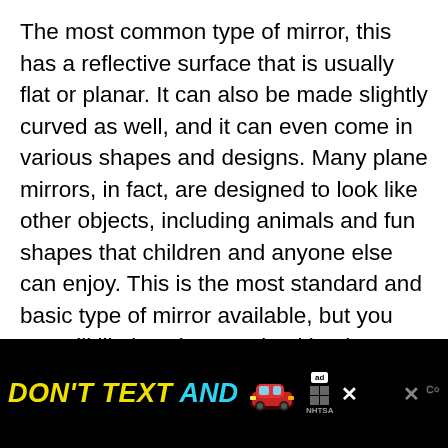The most common type of mirror, this has a reflective surface that is usually flat or planar. It can also be made slightly curved as well, and it can even come in various shapes and designs. Many plane mirrors, in fact, are designed to look like other objects, including animals and fun shapes that children and anyone else can enjoy. This is the most standard and basic type of mirror available, but you are still likely to be surprised by the options you have when choosing these mirrors for your home or office.
[Figure (screenshot): Advertisement banner with black background. Text reads 'DON'T TEXT AND' in bold yellow and cyan italic letters, followed by a red car emoji, an 'ad' badge, NHTSA logo with grey squares, a close X button, and a weather/other app icon.]